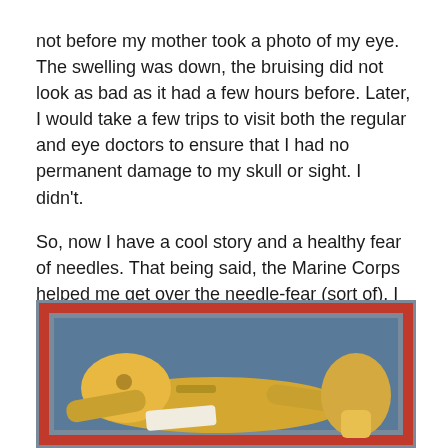not before my mother took a photo of my eye. The swelling was down, the bruising did not look as bad as it had a few hours before. Later, I would take a few trips to visit both the regular and eye doctors to ensure that I had no permanent damage to my skull or sight. I didn't.
So, now I have a cool story and a healthy fear of needles. That being said, the Marine Corps helped me get over the needle-fear (sort of). I learned quickly that I don't get a pass on getting stuck. I just have to shut up and take it. So I did—and do. Yeah, 15+ prick-n-sicks in one hour will help you get over a little thing like needle nervousness (and that was just one of the several let's-stab-you-and-draw-blood days).
[Figure (illustration): Illustrated image showing what appears to be a cartoonish figure or character lying down, rendered in warm yellows and browns against a blue-gray and red-bordered background.]